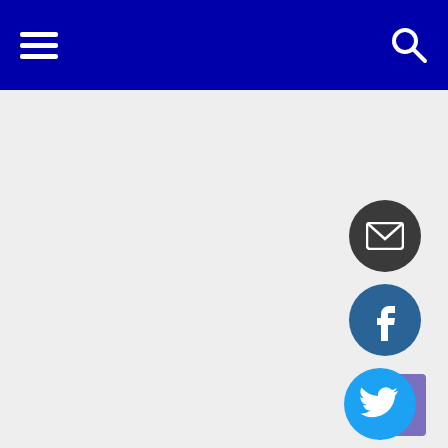Navigation bar with hamburger menu and search icon
[Figure (screenshot): Website navigation bar with dark blue background, hamburger menu icon on the left and search icon on the right]
[Figure (infographic): Social media icon buttons on the right side: email (dark circle), Facebook (blue circle), Twitter (cyan circle with purple rectangle overlay), Instagram (gradient circle)]